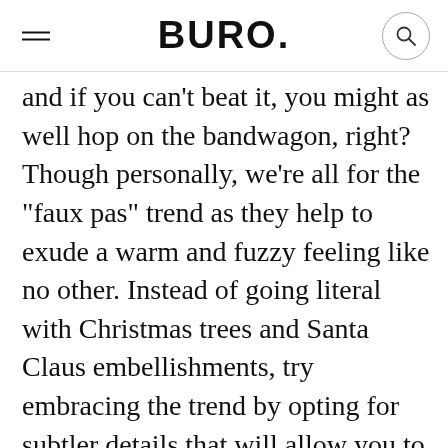BURO.
and if you can't beat it, you might as well hop on the bandwagon, right? Though personally, we're all for the "faux pas" trend as they help to exude a warm and fuzzy feeling like no other. Instead of going literal with Christmas trees and Santa Claus embellishments, try embracing the trend by opting for subtler details that will allow you to rock the cosy knits (and feel festive) all year long. The trick to elevate your holiday